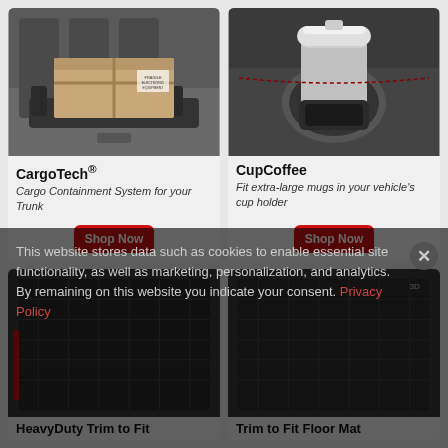[Figure (photo): CargoTech product photo showing cargo containment system with a box in a car trunk]
CargoTech®
Cargo Containment System for your Trunk
[Figure (photo): CupCoffee product photo showing an oversized cup in a vehicle cup holder]
CupCoffee
Fit extra-large mugs in your vehicle's cup holder
[Figure (photo): HeavyDuty Trim to Fit floor mat photo — partially obscured by cookie banner]
[Figure (photo): Trim to Fit Floor Mat photo — partially obscured by cookie banner]
This website stores data such as cookies to enable essential site functionality, as well as marketing, personalization, and analytics. By remaining on this website you indicate your consent. Privacy Policy
HeavyDuty Trim to Fit
Trim to Fit Floor Mat